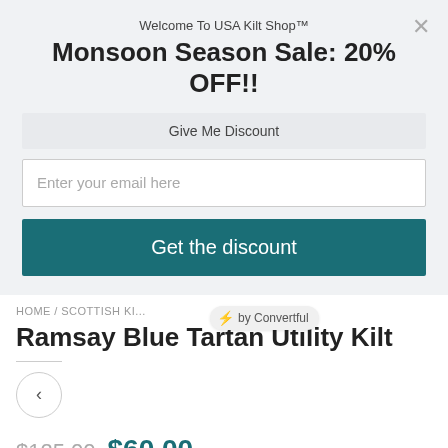Welcome To USA Kilt Shop™
Monsoon Season Sale: 20% OFF!!
Give Me Discount
Enter your email here
Get the discount
HOME / SCOTTISH KI...
[Figure (logo): ⚡ by Convertful badge]
Ramsay Blue Tartan Utility Kilt
$125.00  $60.00
*TARTAN & TWEED COLORS
[Figure (photo): Color swatches for tartan and tweed colors]